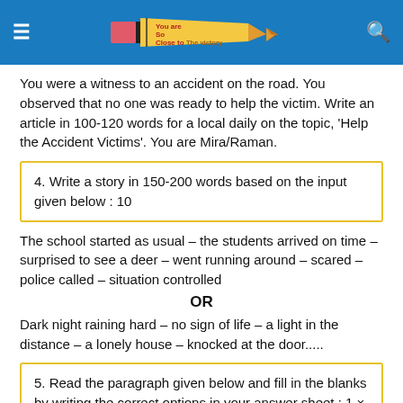[Figure (logo): Blue header bar with hamburger menu icon on left, pencil logo with text 'You are So Close to The victory' in center, and search icon on right]
You were a witness to an accident on the road. You observed that no one was ready to help the victim. Write an article in 100-120 words for a local daily on the topic, 'Help the Accident Victims'. You are Mira/Raman.
4. Write a story in 150-200 words based on the input given below : 10
The school started as usual – the students arrived on time – surprised to see a deer – went running around – scared – police called – situation controlled
OR
Dark night raining hard – no sign of life – a light in the distance – a lonely house – knocked at the door.....
5. Read the paragraph given below and fill in the blanks by writing the correct options in your answer sheet : 1 × 3 = 3